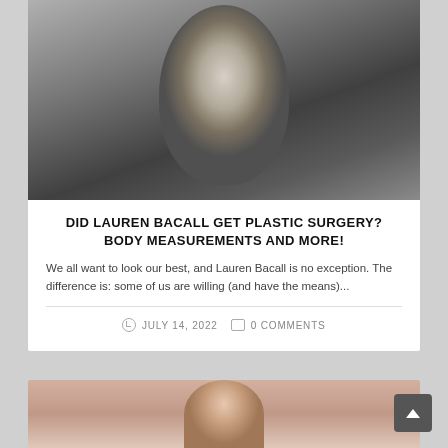[Figure (photo): Black and white portrait photo of Lauren Bacall, a classic Hollywood actress with wavy dark hair, looking directly at the camera]
DID LAUREN BACALL GET PLASTIC SURGERY? BODY MEASUREMENTS AND MORE!
We all want to look our best, and Lauren Bacall is no exception. The difference is: some of us are willing (and have the means)...
JULY 14, 2022   0 COMMENTS
[Figure (photo): Color photo of a woman with reddish-brown hair, partially visible at the bottom of the page]